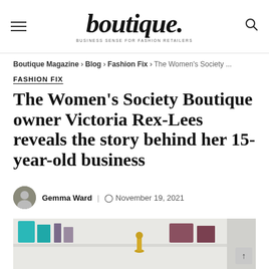boutique. BUSINESS SENSE FOR FASHION RETAILERS
Boutique Magazine > Blog > Fashion Fix > The Women's Society ...
FASHION FIX
The Women's Society Boutique owner Victoria Rex-Lees reveals the story behind her 15-year-old business
Gemma Ward | November 19, 2021
[Figure (photo): Interior photo of a boutique store shelf with teal/turquoise accessories, a gold decorative figurine, and folded clothing items on white shelves]